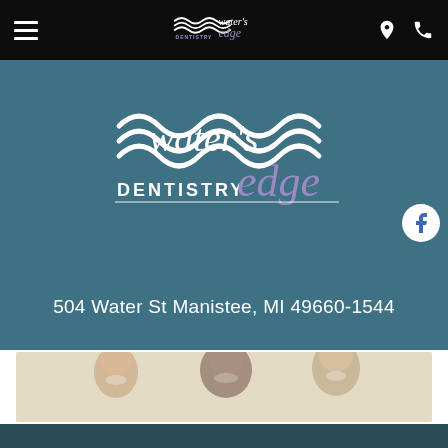Water's Edge Dentistry — navigation bar with hamburger menu, logo, location and phone icons
[Figure (logo): Water's Edge Dentistry logo — large version centered on teal background, with wave graphic and 'DENTISTRY' text below]
504 Water St Manistee, MI 49660-1544
[Figure (photo): Photo of a smiling family — young girl, man, and woman laughing together]
[Figure (logo): Facebook icon button (white circle with f) on right side]